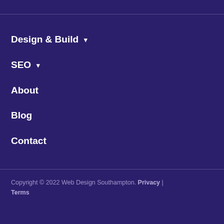Design & Build ▾
SEO ▾
About
Blog
Contact
Copyright © 2022 Web Design Southampton. Privacy | Terms